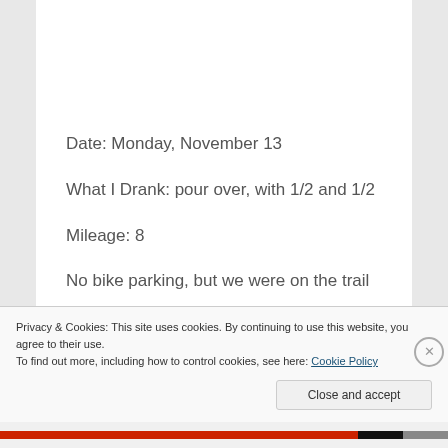[Figure (screenshot): App interface screenshot showing achievement bar and photo of dark bicycle/motorcycle image]
Date: Monday, November 13
What I Drank: pour over, with 1/2 and 1/2
Mileage: 8
No bike parking, but we were on the trail
Privacy & Cookies: This site uses cookies. By continuing to use this website, you agree to their use.
To find out more, including how to control cookies, see here: Cookie Policy
Close and accept